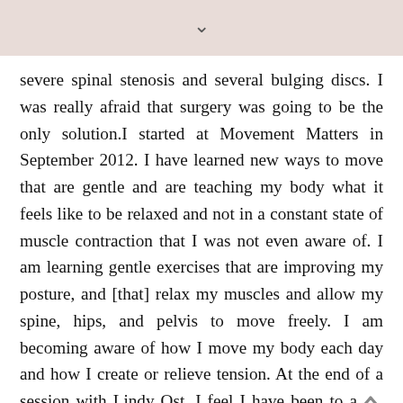▾
severe spinal stenosis and several bulging discs. I was really afraid that surgery was going to be the only solution.I started at Movement Matters in September 2012. I have learned new ways to move that are gentle and are teaching my body what it feels like to be relaxed and not in a constant state of muscle contraction that I was not even aware of. I am learning gentle exercises that are improving my posture, and [that] relax my muscles and allow my spine, hips, and pelvis to move freely. I am becoming aware of how I move my body each day and how I create or relieve tension. At the end of a session with Lindy Ost, I feel I have been to a spa rather than a gym.I am taking walks pain-free on some days for the first time in years. Yesterday I stood in a store waiting for my daughter for about